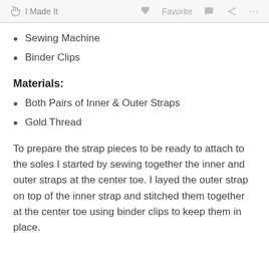I Made It   Favorite
Sewing Machine
Binder Clips
Materials:
Both Pairs of Inner & Outer Straps
Gold Thread
To prepare the strap pieces to be ready to attach to the soles I started by sewing together the inner and outer straps at the center toe. I layed the outer strap on top of the inner strap and stitched them together at the center toe using binder clips to keep them in place.